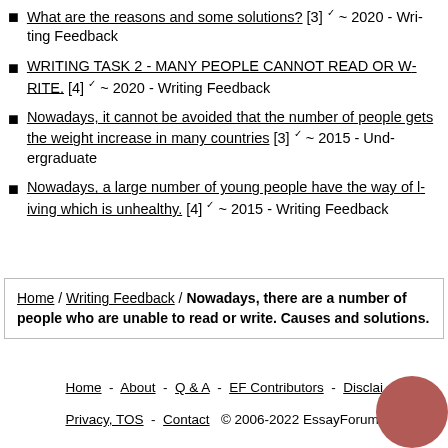What are the reasons and some solutions? [3] ✓ ~ 2020 - Writing Feedback
WRITING TASK 2 - MANY PEOPLE CANNOT READ OR WRITE. [4] ✓ ~ 2020 - Writing Feedback
Nowadays, it cannot be avoided that the number of people gets the weight increase in many countries [3] ✓ ~ 2015 - Undergraduate
Nowadays, a large number of young people have the way of living which is unhealthy. [4] ✓ ~ 2015 - Writing Feedback
Home / Writing Feedback / Nowadays, there are a number of people who are unable to read or write. Causes and solutions.
Home - About - Q & A - EF Contributors - Discla... Privacy, TOS - Contact © 2006-2022 EssayForum...